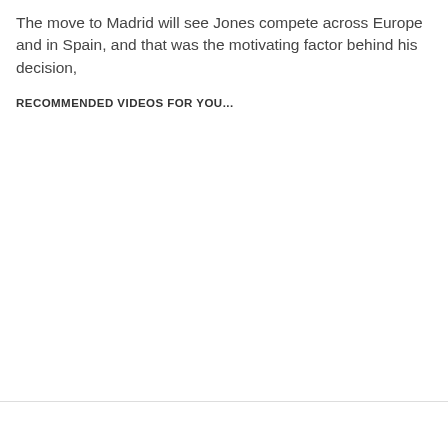The move to Madrid will see Jones compete across Europe and in Spain, and that was the motivating factor behind his decision,
RECOMMENDED VIDEOS FOR YOU...